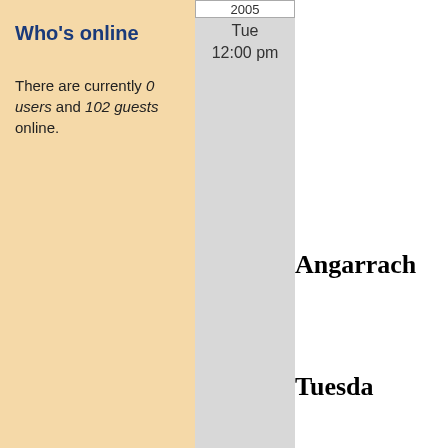2005
Tue
12:00 pm
Who's online
There are currently 0 users and 102 guests online.
Angarrach
Tuesday